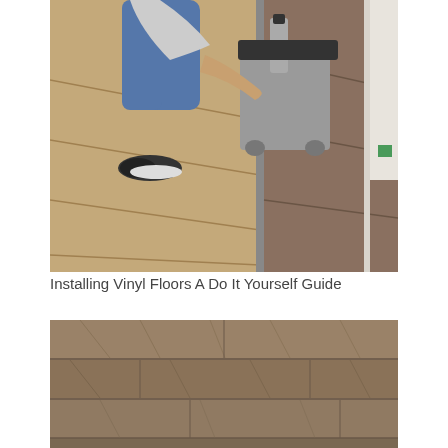[Figure (photo): Person crouching on vinyl plank floor, using a manual floor cutter/trimmer tool to cut a vinyl plank near a wall. The floor shows installed brown/grey wood-grain vinyl planks.]
Installing Vinyl Floors A Do It Yourself Guide
[Figure (photo): Close-up view of brown/grey wood-grain vinyl plank flooring installed on a floor.]